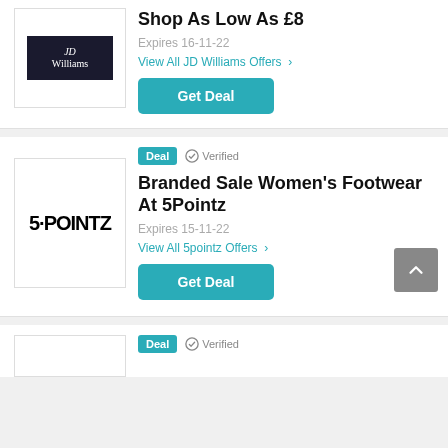[Figure (logo): JD Williams logo - dark background with JD Williams text]
Shop As Low As £8
Expires 16-11-22
View All JD Williams Offers >
Get Deal
[Figure (logo): 5POINTZ logo in bold black text]
Deal  Verified
Branded Sale Women's Footwear At 5Pointz
Expires 15-11-22
View All 5pointz Offers >
Get Deal
Deal  Verified